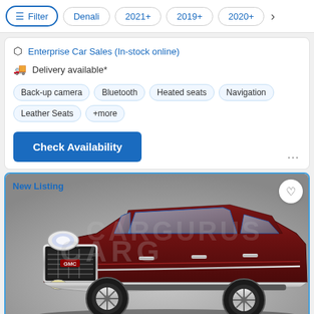Filter | Denali | 2021+ | 2019+ | 2020+ | >
Enterprise Car Sales (In-stock online)
Delivery available*
Back-up camera
Bluetooth
Heated seats
Navigation
Leather Seats
+more
Check Availability
New Listing
[Figure (photo): Dark red/maroon GMC Yukon XL Denali SUV photographed from front-left angle on a gray background. The vehicle has a large chrome grille, the GMC logo, running boards, and alloy wheels.]